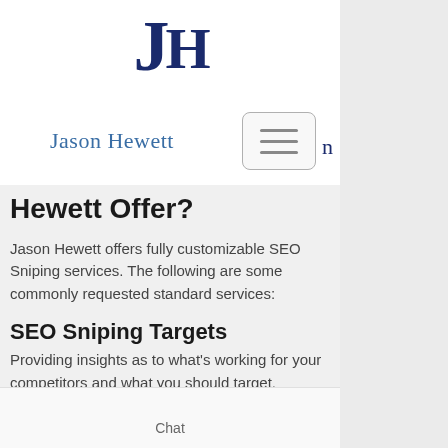[Figure (logo): JH monogram logo in dark navy serif font]
Jason Hewett
Hewett Offer?
Jason Hewett offers fully customizable SEO Sniping services. The following are some commonly requested standard services:
SEO Sniping Targets
Providing insights as to what's working for your competitors and what you should target.
Chat